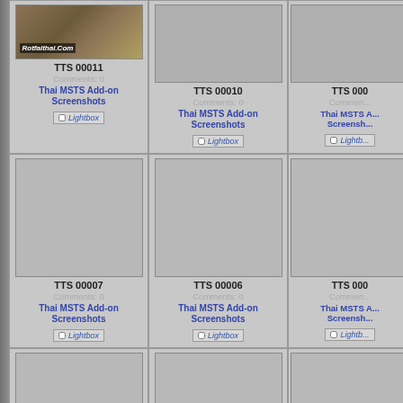[Figure (screenshot): Website gallery grid showing Thai MSTS Add-on Screenshots thumbnails with titles TTS 00011, TTS 00010, TTS 00007, TTS 00006, TTS 00003, TTS 00002 and partial third column entries. Each cell has a thumbnail image, title, Comments: 0, category link 'Thai MSTS Add-on Screenshots', and a Lightbox checkbox button.]